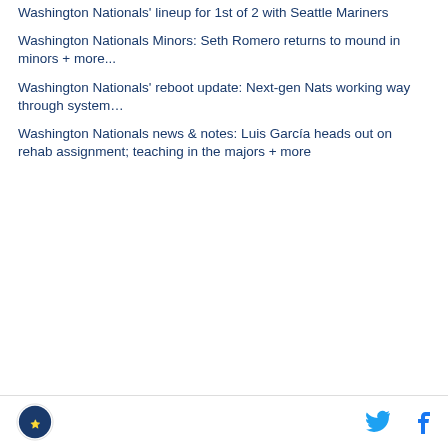Washington Nationals' lineup for 1st of 2 with Seattle Mariners
Washington Nationals Minors: Seth Romero returns to mound in minors + more...
Washington Nationals' reboot update: Next-gen Nats working way through system…
Washington Nationals news & notes: Luis García heads out on rehab assignment; teaching in the majors + more
[Figure (other): DraftKings Sportsbook betting widget showing OAK vs WAS game at 8:05p. SPREAD: OAK -1.5 (+165), WAS +1.5 (-195). MONEY row partially visible showing 105 and 115.]
Site logo | Twitter icon | Facebook icon